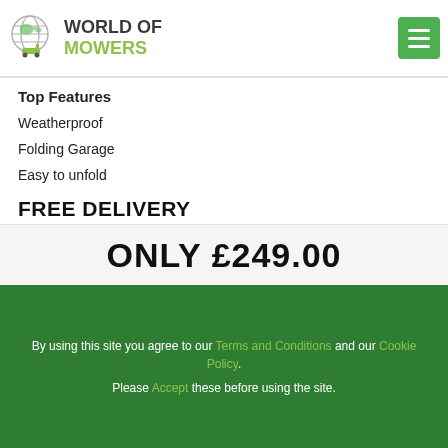World of Mowers
Top Features
Weatherproof
Folding Garage
Easy to unfold
FREE DELIVERY
ONLY £249.00
By using this site you agree to our Terms and Conditions and our Cookie Policy. Please Accept these before using the site.